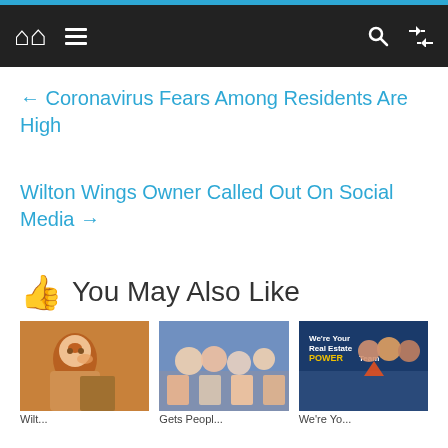Navigation bar with home, menu, search, shuffle icons
← Coronavirus Fears Among Residents Are High
Wilton Wings Owner Called Out On Social Media →
👍 You May Also Like
[Figure (photo): Three thumbnail photos for recommended articles]
Wilt... | Gets People... | We're Your Real Estate POWER Team